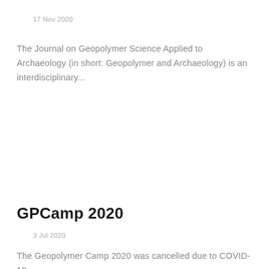17 Nov 2020
The Journal on Geopolymer Science Applied to Archaeology (in short: Geopolymer and Archaeology) is an interdisciplinary...
GPCamp 2020
3 Jul 2020
The Geopolymer Camp 2020 was cancelled due to COVID-19